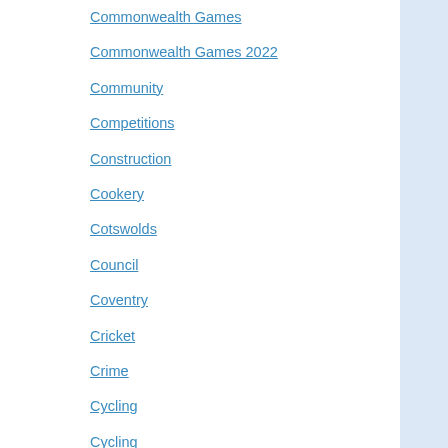Commonwealth Games
Commonwealth Games 2022
Community
Competitions
Construction
Cookery
Cotswolds
Council
Coventry
Cricket
Crime
Cycling
Cycling
Dance
Democratise
Digbeth
Du...